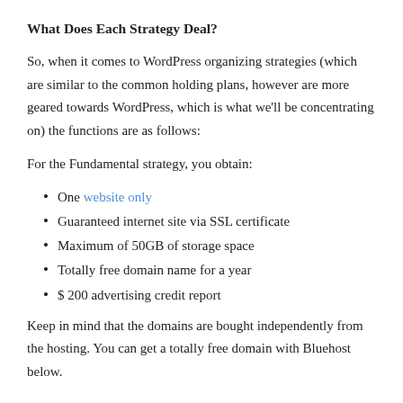What Does Each Strategy Deal?
So, when it comes to WordPress organizing strategies (which are similar to the common holding plans, however are more geared towards WordPress, which is what we’ll be concentrating on) the functions are as follows:
For the Fundamental strategy, you obtain:
One website only
Guaranteed internet site via SSL certificate
Maximum of 50GB of storage space
Totally free domain name for a year
$ 200 advertising credit report
Keep in mind that the domains are bought independently from the hosting. You can get a totally free domain with Bluehost below.